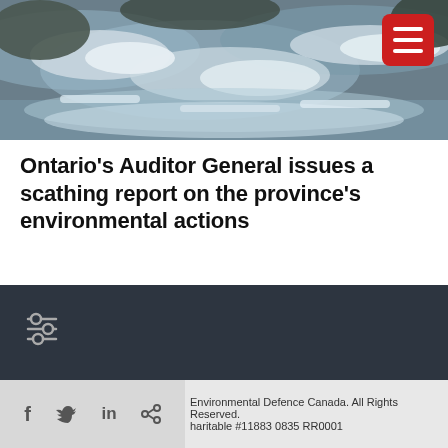[Figure (photo): Rushing water/rapids with rocks, nature/river scene photo used as header image for article]
Ontario’s Auditor General issues a scathing report on the province’s environmental actions
[Figure (logo): Environmental Defence logo: red circle with white tree icon, with text 'environmental defence' beside it on dark background. Social media icons below (Facebook, Twitter, Instagram, YouTube, LinkedIn). Settings/filter icon on left.]
Environmental Defence Canada. All Rights Reserved. Charitable #11883 0835 RR0001